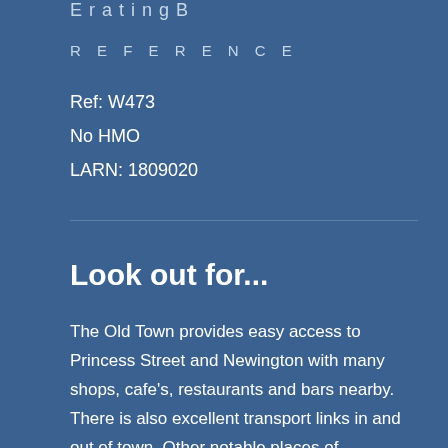E r a t i n g  B
R E F E R E N C E
Ref: W473
No HMO
LARN: 1809020
Look out for...
The Old Town provides easy access to Princess Street and Newington with many shops, cafe's, restaurants and bars nearby. There is also excellent transport links in and out of town. Other notable places of